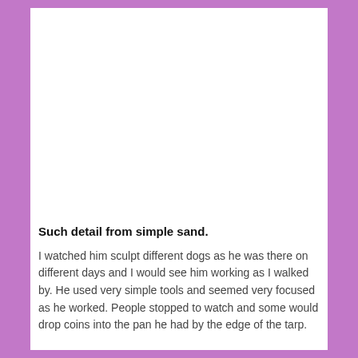Such detail from simple sand.
I watched him sculpt different dogs as he was there on different days and I would see him working as I walked by. He used very simple tools and seemed very focused as he worked. People stopped to watch and some would drop coins into the pan he had by the edge of the tarp.